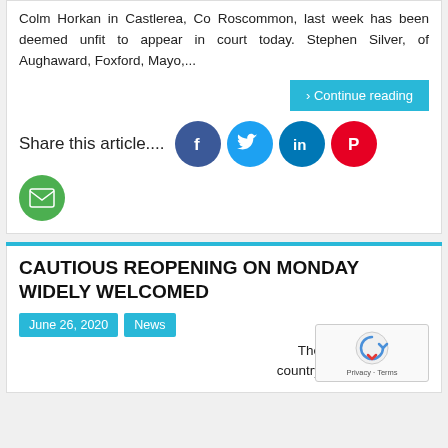Colm Horkan in Castlerea, Co Roscommon, last week has been deemed unfit to appear in court today. Stephen Silver, of Aughaward, Foxford, Mayo,...
> Continue reading
Share this article....
[Figure (infographic): Social sharing icons: Facebook (blue circle with F), Twitter (light blue circle with bird), LinkedIn (dark blue circle with in), Pinterest (red circle with P), Email (green circle with envelope)]
CAUTIOUS REOPENING ON MONDAY WIDELY WELCOMED
June 26, 2020
News
The country